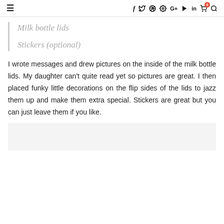≡  f  𝕏  ⊙  ⊕  G+  ▶  in  🛒⁰  🔍
Milk bottle lids
Stickers (optional)
I wrote messages and drew pictures on the inside of the milk bottle lids. My daughter can't quite read yet so pictures are great. I then placed funky little decorations on the flip sides of the lids to jazz them up and make them extra special. Stickers are great but you can just leave them if you like.
[Figure (photo): Partial image placeholder at bottom of page]